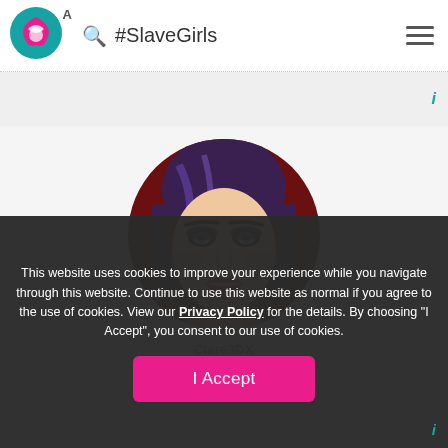#SlaveGirls
[Figure (illustration): Circular profile avatar showing a 3D rendered female character with purple/dark hair and dark eye makeup against a dark red background. Username 'Clare3DX' visible below.]
This website uses cookies to improve your experience while you navigate through this website. Continue to use this website as normal if you agree to the use of cookies. View our Privacy Policy for the details. By choosing "I Accept", you consent to our use of cookies.
I Accept